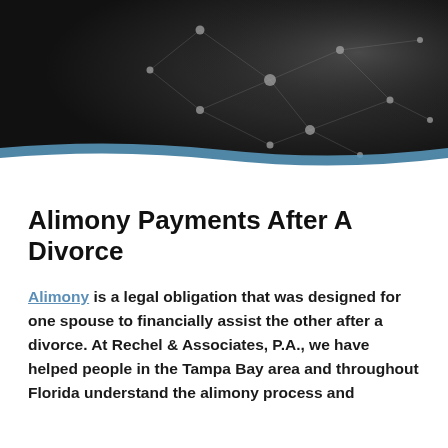[Figure (illustration): Dark background header image with network/constellation graphic of connected dots and lines on a dark charcoal background, with a light blue curved wave stripe at the bottom of the image separating it from the white content area below.]
Alimony Payments After A Divorce
Alimony is a legal obligation that was designed for one spouse to financially assist the other after a divorce. At Rechel & Associates, P.A., we have helped people in the Tampa Bay area and throughout Florida understand the alimony process and